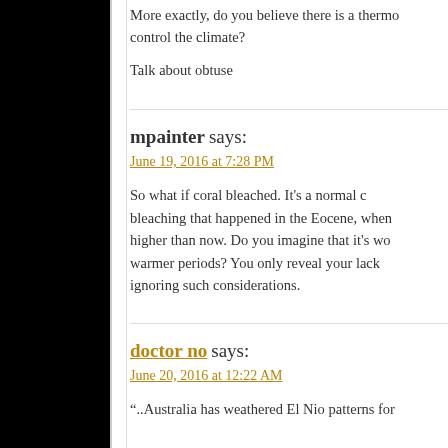More exactly, do you believe there is a thermo... control the climate?
Talk about obtuse
mpainter says:
June 19, 2016 at 7:28 PM
So what if coral bleached. It's a normal c... bleaching that happened in the Eocene, when ... higher than now. Do you imagine that it's wo... warmer periods? You only reveal your lack... ignoring such considerations.
doctor no says:
June 20, 2016 at 12:22 AM
“..Australia has weathered El Nio patterns for...